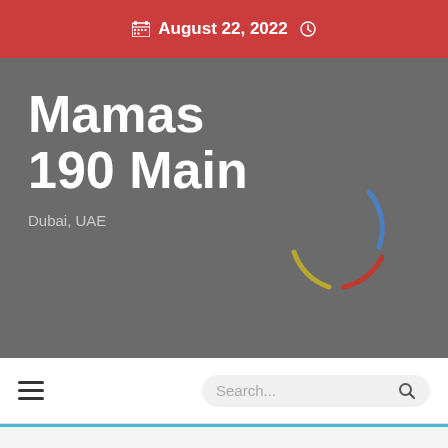August 22, 2022
Mamas
190 Main
Dubai, UAE
[Figure (other): Colorful circular loading spinner with blue, yellow, and red arc segments on grey background]
Search...
Top Stories
Things You Can Enjoy by St